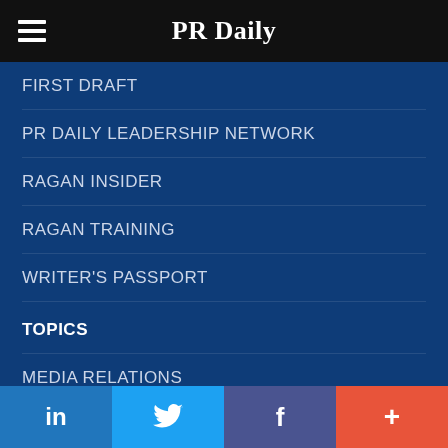PR Daily
FIRST DRAFT
PR DAILY LEADERSHIP NETWORK
RAGAN INSIDER
RAGAN TRAINING
WRITER'S PASSPORT
TOPICS
MEDIA RELATIONS
MEASUREMENT
SOCIAL MEDIA
in  (Twitter bird)  f  +